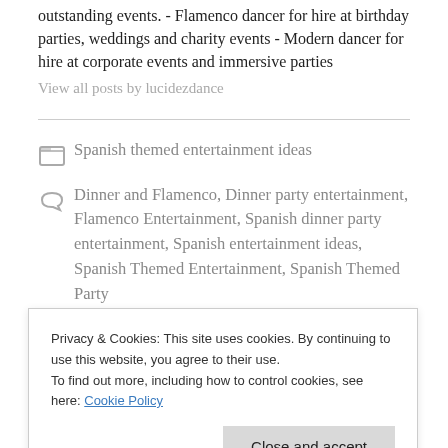outstanding events. - Flamenco dancer for hire at birthday parties, weddings and charity events - Modern dancer for hire at corporate events and immersive parties
View all posts by lucidezdance
Spanish themed entertainment ideas
Dinner and Flamenco, Dinner party entertainment, Flamenco Entertainment, Spanish dinner party entertainment, Spanish entertainment ideas, Spanish Themed Entertainment, Spanish Themed Party
Privacy & Cookies: This site uses cookies. By continuing to use this website, you agree to their use. To find out more, including how to control cookies, see here: Cookie Policy
Close and accept
Your email address will not be published. Required fields are